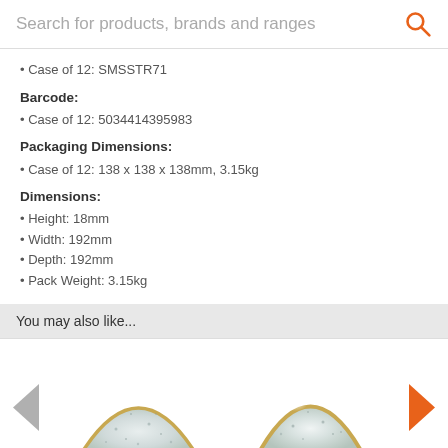Search for products, brands and ranges
Case of 12: SMSSTR71
Barcode:
Case of 12: 5034414395983
Packaging Dimensions:
Case of 12: 138 x 138 x 138mm, 3.15kg
Dimensions:
Height: 18mm
Width: 192mm
Depth: 192mm
Pack Weight: 3.15kg
You may also like...
[Figure (photo): Two Churchill Stonecast bowls shown side by side with navigation arrows]
Churchill Stonecast   Churchill Stonecast